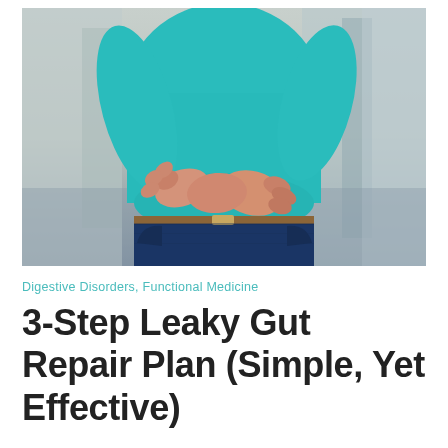[Figure (photo): A person wearing a teal/turquoise long-sleeve shirt and dark blue jeans, holding their hands over their abdomen/stomach area, suggesting digestive discomfort. Background is blurred indoor setting.]
Digestive Disorders, Functional Medicine
3-Step Leaky Gut Repair Plan (Simple, Yet Effective)